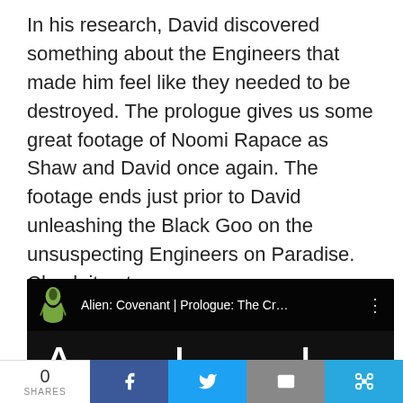In his research, David discovered something about the Engineers that made him feel like they needed to be destroyed. The prologue gives us some great footage of Noomi Rapace as Shaw and David once again. The footage ends just prior to David unleashing the Black Goo on the unsuspecting Engineers on Paradise. Check it out:
[Figure (screenshot): YouTube video thumbnail for 'Alien: Covenant | Prologue: The Cr...' showing the Alien: Covenant movie logo with alien head icon and title text 'ALIEN COVENANT' on a dark background]
0 SHARES | Facebook share | Twitter share | Email share | Link share